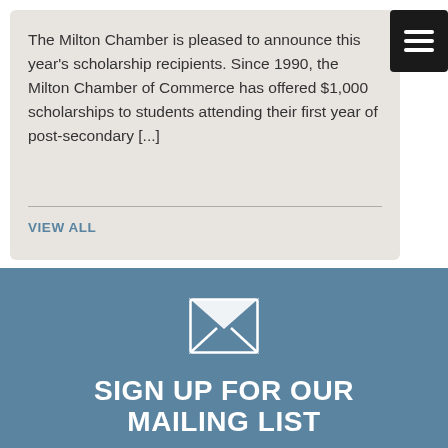The Milton Chamber is pleased to announce this year's scholarship recipients. Since 1990, the Milton Chamber of Commerce has offered $1,000 scholarships to students attending their first year of post-secondary [...]
VIEW ALL
[Figure (illustration): Envelope/mail icon in white on blue-grey background]
SIGN UP FOR OUR MAILING LIST